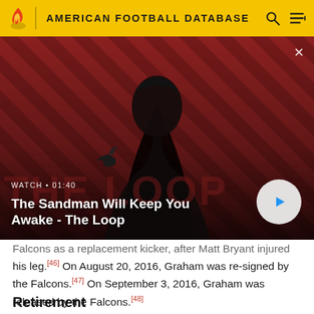AMERICAN FOOTBALL DATABASE
[Figure (screenshot): Video thumbnail overlay showing a dark-cloaked figure with a raven on their shoulder against a red diagonal striped background. Overlay text reads: WATCH • 01:40 / The Sandman Will Keep You Awake - The Loop. A play button circle is visible bottom right. A close X is top right.]
Falcons as a replacement kicker, after Matt Bryant injured his leg.[46] On August 20, 2016, Graham was re-signed by the Falcons.[47] On September 3, 2016, Graham was released by the Falcons.[48]
Retirement